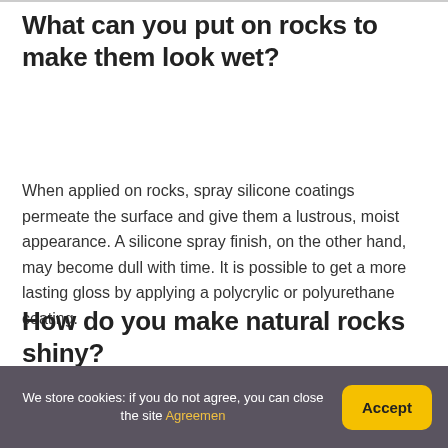What can you put on rocks to make them look wet?
When applied on rocks, spray silicone coatings permeate the surface and give them a lustrous, moist appearance. A silicone spray finish, on the other hand, may become dull with time. It is possible to get a more lasting gloss by applying a polycrylic or polyurethane coating.
How do you make natural rocks shiny?
We store cookies: if you do not agree, you can close the site Agreemen